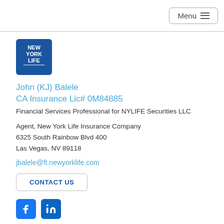Menu
[Figure (logo): New York Life logo — white text on blue rounded square background]
John (KJ) Balele
CA Insurance Lic# 0M84885
Financial Services Professional for NYLIFE Securities LLC
Agent, New York Life Insurance Company
6325 South Rainbow Blvd 400
Las Vegas, NV 89118
jbalele@ft.newyorklife.com
CONTACT US
[Figure (logo): Facebook and LinkedIn social media icons]